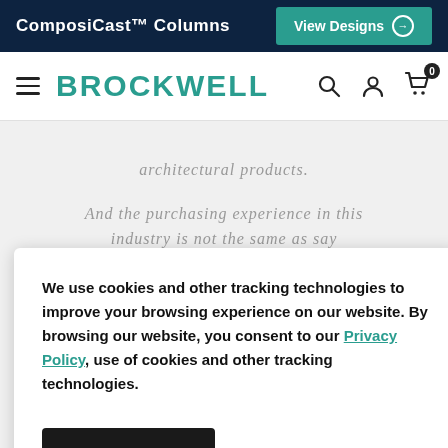ComposiCast™ Columns | View Designs
BROCKWELL
architectural products.
And the purchasing experience in this industry is not the same as say . . . buying a shirt online, then receiving it.
We use cookies and other tracking technologies to improve your browsing experience on our website. By browsing our website, you consent to our Privacy Policy, use of cookies and other tracking technologies.
Accept
especially if this is an area that you may not